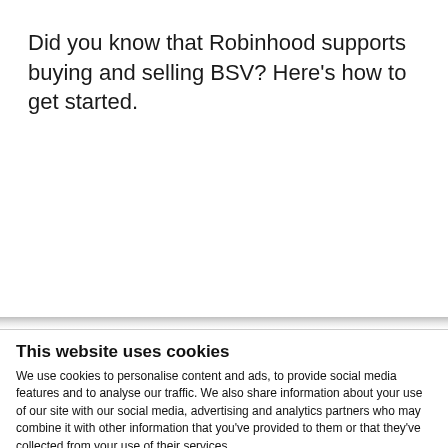Did you know that Robinhood supports buying and selling BSV? Here’s how to get started.
This website uses cookies
We use cookies to personalise content and ads, to provide social media features and to analyse our traffic. We also share information about your use of our site with our social media, advertising and analytics partners who may combine it with other information that you’ve provided to them or that they’ve collected from your use of their services.